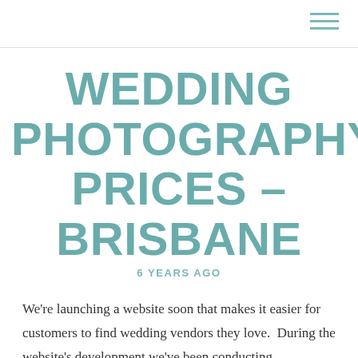WEDDING PHOTOGRAPHY PRICES – BRISBANE
6 YEARS AGO
We're launching a website soon that makes it easier for customers to find wedding vendors they love.  During the website's development we've been conducting